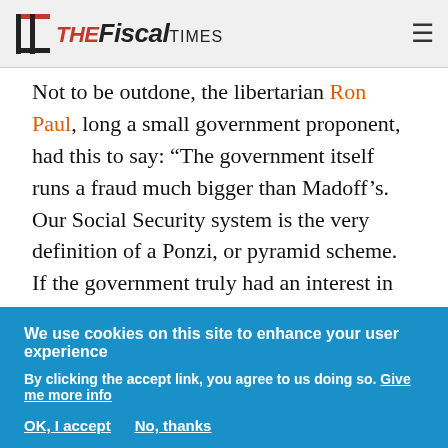The Fiscal Times
Not to be outdone, the libertarian Ron Paul, long a small government proponent, had this to say: “The government itself runs a fraud much bigger than Madoff’s. Our Social Security system is the very definition of a Ponzi, or pyramid scheme. If the government truly had an interest in protecting people’s savings, they would allow people to opt out of Social Security altogether. We would cut wasteful spending, such as our overseas empire, to honor current obligations to seniors, and eventually phase
We use cookies on this site to enhance your user experience
By clicking the accept link, you agree to us doing so. Give me more info
OK, I accept   No, thanks